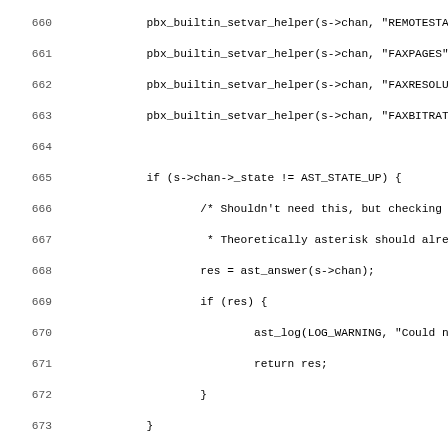[Figure (screenshot): Source code listing showing lines 660-691 of a C program dealing with fax/T38 channel state handling. Functions include pbx_builtin_setvar_helper, ast_answer, ast_log, transmit_audio, transmit_t38, and channel state checks for AST_STATE_UP and T38_STATE_NEGOTIATED.]